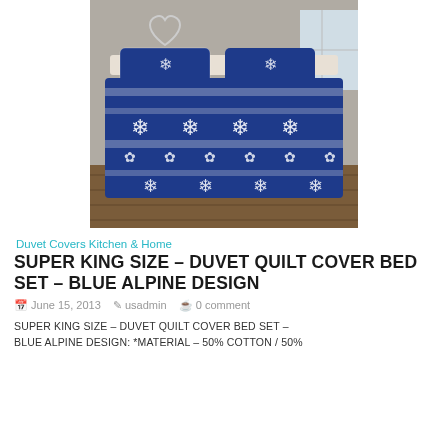[Figure (photo): Blue and white Nordic/Alpine pattern duvet cover set on a bed, with snowflake and geometric designs, photographed in a rustic wooden room setting.]
Duvet Covers Kitchen & Home
SUPER KING SIZE – DUVET QUILT COVER BED SET – BLUE ALPINE DESIGN
June 15, 2013   usadmin   0 comment
SUPER KING SIZE – DUVET QUILT COVER BED SET – BLUE ALPINE DESIGN: *Material – 50% Cotton / 50%